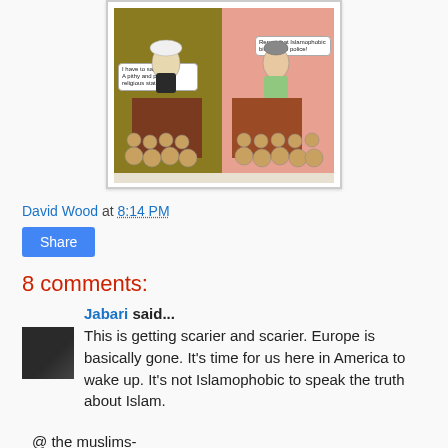[Figure (illustration): A two-panel cartoon. Left panel shows a bearded man at a podium with a speech bubble saying 'I have to say: A pithy and proud religious statement!' Right panel shows a woman at a podium with a speech bubble saying 'Report that Islamophobic bitch to the police!' with an audience of cartoon faces in both panels. Caption below reads: 'Elisabeth Sabaditsch-Wolff is indicted for inciting hatred against Islam...']
David Wood at 8:14 PM
Share
8 comments:
Jabari said...
This is getting scarier and scarier. Europe is basically gone. It's time for us here in America to wake up. It's not Islamophobic to speak the truth about Islam.
@ the muslims-
If you're going to turn America, or any other country in